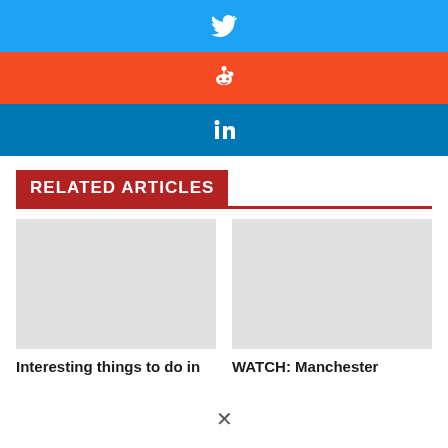[Figure (other): Twitter share button with bird icon, light blue background]
[Figure (other): Reddit share button with Reddit alien icon, orange-red background]
[Figure (other): LinkedIn share button with 'in' icon, dark blue background]
RELATED ARTICLES
Interesting things to do in
WATCH: Manchester